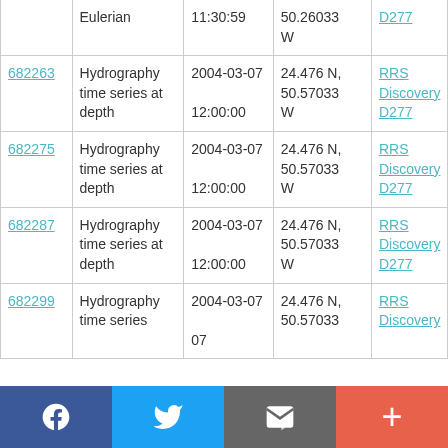| ID | Type | Date/Time | Location | Vessel |
| --- | --- | --- | --- | --- |
|  | Eulerian | 11:30:59 | 50.26033 W | D277 |
| 682263 | Hydrography time series at depth | 2004-03-07 12:00:00 | 24.476 N, 50.57033 W | RRS Discovery D277 |
| 682275 | Hydrography time series at depth | 2004-03-07 12:00:00 | 24.476 N, 50.57033 W | RRS Discovery D277 |
| 682287 | Hydrography time series at depth | 2004-03-07 12:00:00 | 24.476 N, 50.57033 W | RRS Discovery D277 |
| 682299 | Hydrography time series | 2004-03-07 | 24.476 N, 50.57033 | RRS Discovery |
[Figure (other): Social media share bar with Facebook, Twitter, Email/envelope, and plus buttons]